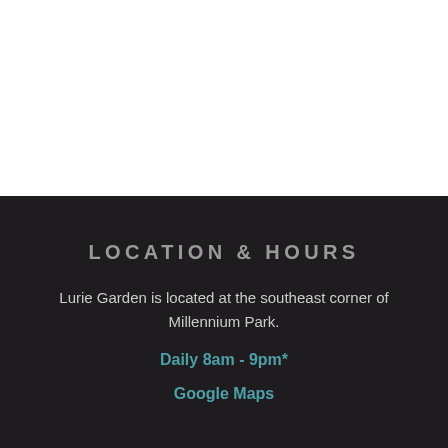LOCATION & HOURS
Lurie Garden is located at the southeast corner of Millennium Park.
Daily 8am - 9pm*
Google Maps